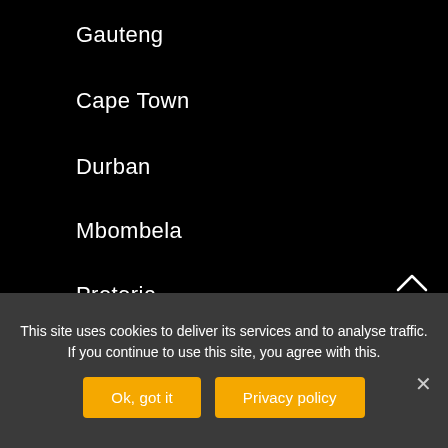Gauteng
Cape Town
Durban
Mbombela
Pretoria
EDITORIAL
Best Places to visi in Cape Town
This site uses cookies to deliver its services and to analyse traffic. If you continue to use this site, you agree with this.
Ok, got it
Privacy policy